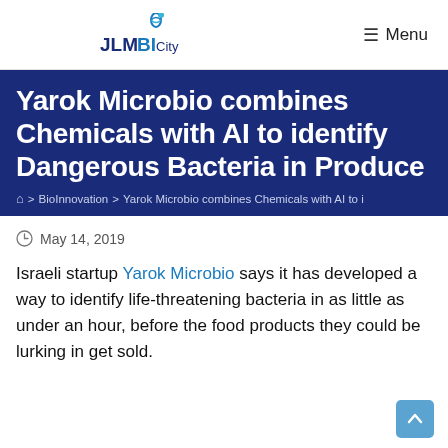JLMBICity | Menu
Yarok Microbio combines Chemicals with AI to identify Dangerous Bacteria in Produce
⌂ > BioInnovation > Yarok Microbio combines Chemicals with AI to i
May 14, 2019
Israeli startup Yarok Microbio says it has developed a way to identify life-threatening bacteria in as little as under an hour, before the food products they could be lurking in get sold.